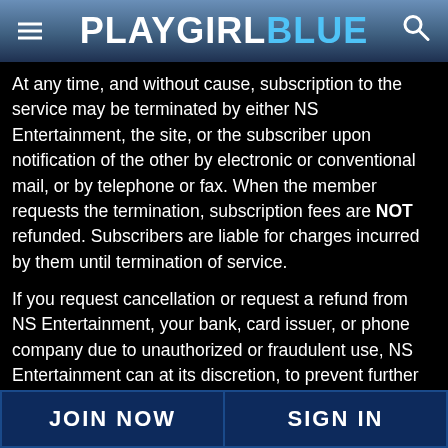PLAYGIRL BLUE
At any time, and without cause, subscription to the service may be terminated by either NS Entertainment, the site, or the subscriber upon notification of the other by electronic or conventional mail, or by telephone or fax. When the member requests the termination, subscription fees are NOT refunded. Subscribers are liable for charges incurred by them until termination of service.
If you request cancellation or request a refund from NS Entertainment, your bank, card issuer, or phone company due to unauthorized or fraudulent use, NS Entertainment can at its discretion, to prevent further unauthorized use, block your information from use at all NS Entertainment clients' websites. This will not however prevent unauthorized use at non-NS Entertainment clients' websites, and is not a substitution for
JOIN NOW   SIGN IN